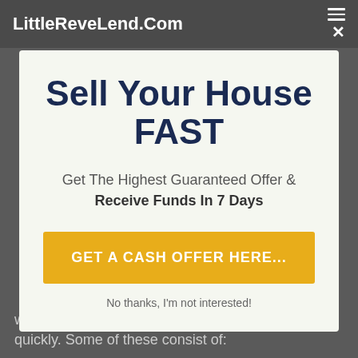LittleReveLend.Com
Sell Your House FAST
Get The Highest Guaranteed Offer & Receive Funds In 7 Days
GET A CASH OFFER HERE...
No thanks, I'm not interested!
when it pertains to needing to market your home quickly. Some of these consist of: